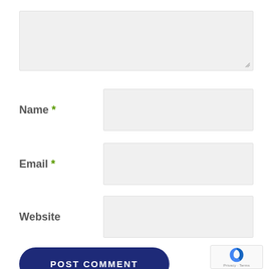[Figure (screenshot): Textarea input box for comment text, with resize handle at bottom right]
Name *
[Figure (screenshot): Text input field for Name]
Email *
[Figure (screenshot): Text input field for Email]
Website
[Figure (screenshot): Text input field for Website]
POST COMMENT
[Figure (screenshot): reCAPTCHA widget with logo and Privacy - Terms text]